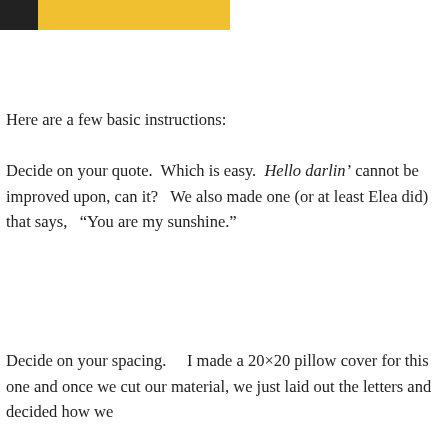[Figure (other): Partial yellow banner/graphic at top left corner of page]
Here are a few basic instructions:
Decide on your quote.  Which is easy.  Hello darlin’ cannot be improved upon, can it?   We also made one (or at least Elea did) that says,   “You are my sunshine.”
Decide on your spacing.    I made a 20×20 pillow cover for this one and once we cut our material, we just laid out the letters and decided how we